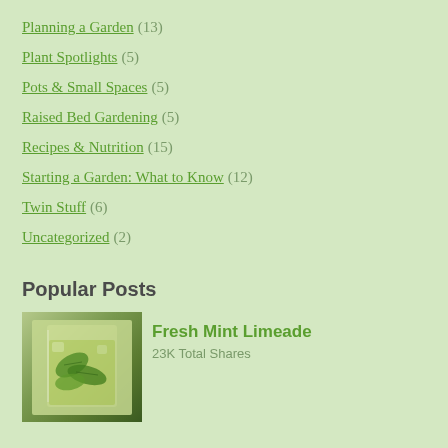Planning a Garden (13)
Plant Spotlights (5)
Pots & Small Spaces (5)
Raised Bed Gardening (5)
Recipes & Nutrition (15)
Starting a Garden: What to Know (12)
Twin Stuff (6)
Uncategorized (2)
Popular Posts
[Figure (photo): A glass of fresh mint limeade with mint leaves visible through the glass]
Fresh Mint Limeade
23K Total Shares